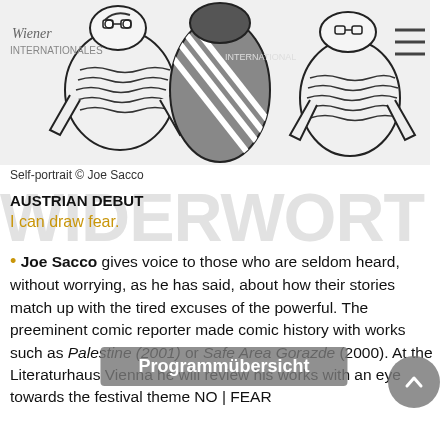[Figure (illustration): Black and white comic-style self-portrait illustration by Joe Sacco showing figures with crosshatched pattern clothing against a light gray background]
Self-portrait © Joe Sacco
AUSTRIAN DEBUT
I can draw fear.
Joe Sacco gives voice to those who are seldom heard, without worrying, as he has said, about how their stories match up with the tired excuses of the powerful. The preeminent comic reporter made comic history with works such as Palestine (2001) or Safe Area Gorazde (2000). At the Literaturhaus Vienna he will review his works with an eye towards the festival theme NO | FEAR
Programmübersicht